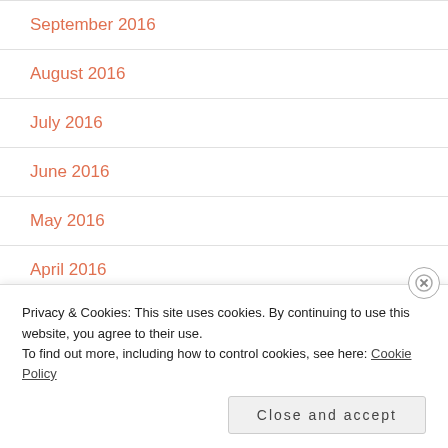September 2016
August 2016
July 2016
June 2016
May 2016
April 2016
March 2016
Privacy & Cookies: This site uses cookies. By continuing to use this website, you agree to their use.
To find out more, including how to control cookies, see here: Cookie Policy
Close and accept